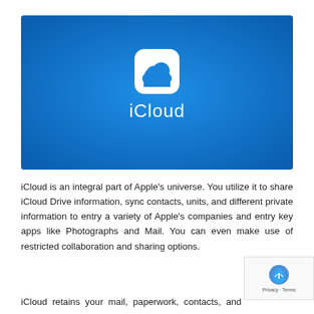[Figure (illustration): iCloud logo on a blue gradient background. White rounded-square icon with a white cloud symbol above the text 'iCloud' in white.]
iCloud is an integral part of Apple's universe. You utilize it to share iCloud Drive information, sync contacts, units, and different private information to entry a variety of Apple's companies and entry key apps like Photographs and Mail. You can even make use of restricted collaboration and sharing options.
iCloud retains your mail, paperwork, contacts, and